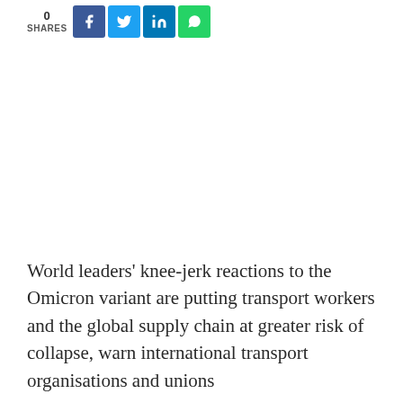0 SHARES
World leaders’ knee-jerk reactions to the Omicron variant are putting transport workers and the global supply chain at greater risk of collapse, warn international transport organisations and unions